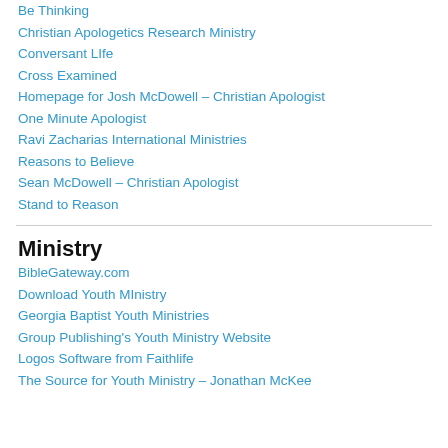Be Thinking
Christian Apologetics Research Ministry
Conversant LIfe
Cross Examined
Homepage for Josh McDowell – Christian Apologist
One Minute Apologist
Ravi Zacharias International Ministries
Reasons to Believe
Sean McDowell – Christian Apologist
Stand to Reason
Ministry
BibleGateway.com
Download Youth MInistry
Georgia Baptist Youth Ministries
Group Publishing's Youth Ministry Website
Logos Software from Faithlife
The Source for Youth Ministry – Jonathan McKee